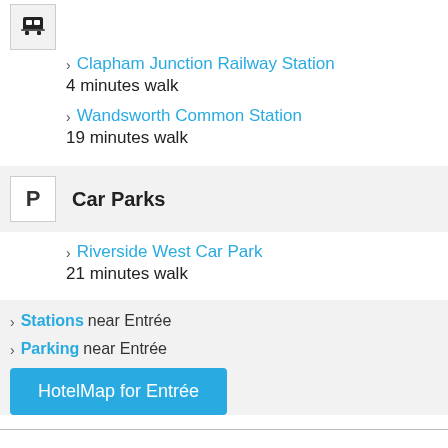Clapham Junction Railway Station — 4 minutes walk
Wandsworth Common Station — 19 minutes walk
Car Parks
Riverside West Car Park — 21 minutes walk
Stations near Entrée
Parking near Entrée
HotelMap for Entrée
Further articles featuring Entrée on LondonTown.com
Post Pre-Theatre Dining in London